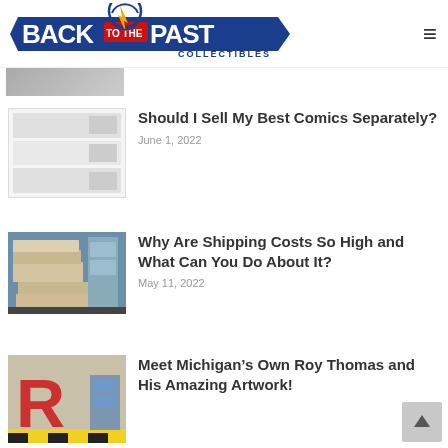[Figure (logo): Back to the Past Collectibles logo with compass/clock motif and arrow]
[Figure (photo): Partially visible thumbnail image at top of page]
[Figure (screenshot): Small composite thumbnail showing spreadsheet/document screenshots for comics article]
Should I Sell My Best Comics Separately?
June 1, 2022
[Figure (photo): Photo of stacked comic book boxes in a warehouse/store]
Why Are Shipping Costs So High and What Can You Do About It?
May 11, 2022
[Figure (photo): Photo showing large red letter R artwork and colorful displays]
Meet Michigan’s Own Roy Thomas and His Amazing Artwork!